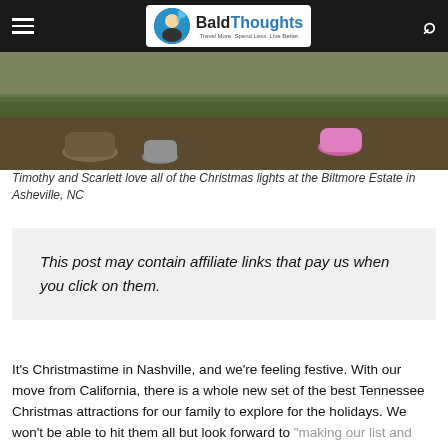BaldThoughts — Travel More. Spend Less. Live Better.
[Figure (photo): Photo of children's feet/shoes on grass and soil, appears to be at Biltmore Estate in Asheville, NC during Christmas season]
Timothy and Scarlett love all of the Christmas lights at the Biltmore Estate in Asheville, NC
This post may contain affiliate links that pay us when you click on them.
It's Christmastime in Nashville, and we're feeling festive. With our move from California, there is a whole new set of the best Tennessee Christmas attractions for our family to explore for the holidays. We won't be able to hit them all but look forward to "making our list and checking it twice" each year as we get into the holiday spirit.